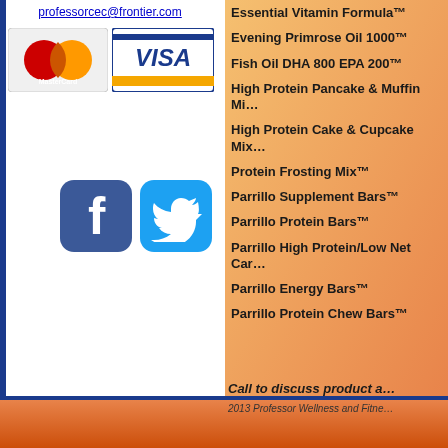professorcec@frontier.com
[Figure (logo): MasterCard and Visa payment logos side by side]
[Figure (logo): Facebook and Twitter social media icons]
Essential Vitamin Formula™
Evening Primrose Oil 1000™
Fish Oil DHA 800 EPA 200™
High Protein Pancake & Muffin Mi…
High Protein Cake & Cupcake Mix…
Protein Frosting Mix™
Parrillo Supplement Bars™
Parrillo Protein Bars™
Parrillo High Protein/Low Net Car…
Parrillo Energy Bars™
Parrillo Protein Chew Bars™
Call to discuss product a…
2013 Professor Wellness and Fitne…